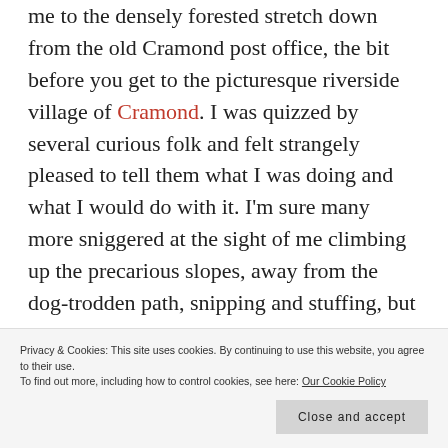me to the densely forested stretch down from the old Cramond post office, the bit before you get to the picturesque riverside village of Cramond. I was quizzed by several curious folk and felt strangely pleased to tell them what I was doing and what I would do with it. I'm sure many more sniggered at the sight of me climbing up the precarious slopes, away from the dog-trodden path, snipping and stuffing, but I didn't
Privacy & Cookies: This site uses cookies. By continuing to use this website, you agree to their use. To find out more, including how to control cookies, see here: Our Cookie Policy
downloading a bunch of free apps